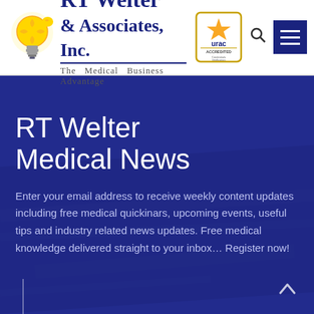[Figure (logo): RT Welter & Associates, Inc. logo with lightbulb puzzle piece icon, URAC Accredited badge, search icon, and hamburger menu button]
RT Welter Medical News
Enter your email address to receive weekly content updates including free medical quickinars, upcoming events, useful tips and industry related news updates. Free medical knowledge delivered straight to your inbox... Register now!